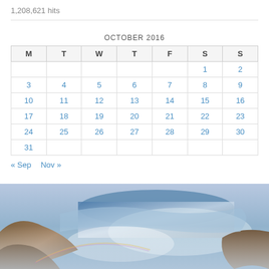1,208,621 hits
| M | T | W | T | F | S | S |
| --- | --- | --- | --- | --- | --- | --- |
|  |  |  |  |  | 1 | 2 |
| 3 | 4 | 5 | 6 | 7 | 8 | 9 |
| 10 | 11 | 12 | 13 | 14 | 15 | 16 |
| 17 | 18 | 19 | 20 | 21 | 22 | 23 |
| 24 | 25 | 26 | 27 | 28 | 29 | 30 |
| 31 |  |  |  |  |  |  |
« Sep   Nov »
[Figure (photo): Waterfall or rushing water landscape photo with misty blue tones and rocky foreground]